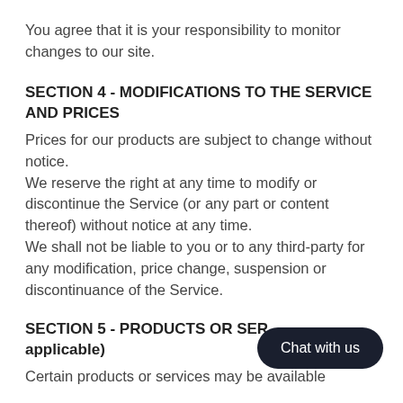You agree that it is your responsibility to monitor changes to our site.
SECTION 4 - MODIFICATIONS TO THE SERVICE AND PRICES
Prices for our products are subject to change without notice.
We reserve the right at any time to modify or discontinue the Service (or any part or content thereof) without notice at any time.
We shall not be liable to you or to any third-party for any modification, price change, suspension or discontinuance of the Service.
SECTION 5 - PRODUCTS OR SER... (if applicable)
Certain products or services may be available
[Figure (other): Chat with us button overlay in bottom right corner]